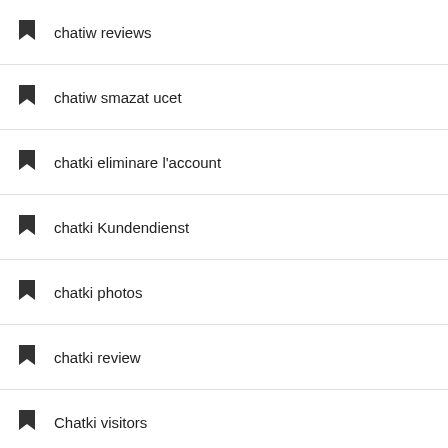chatiw reviews
chatiw smazat ucet
chatki eliminare l'account
chatki Kundendienst
chatki photos
chatki review
Chatki visitors
Chatrandom account verwijderen